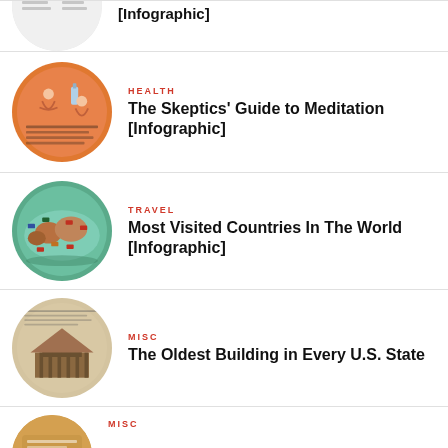[Figure (infographic): Circular thumbnail showing a checklist/comparison infographic]
[Infographic]
[Figure (infographic): Circular thumbnail showing an orange meditation infographic with person figures]
HEALTH
The Skeptics' Guide to Meditation [Infographic]
[Figure (infographic): Circular thumbnail showing a globe map with country flags for most visited countries]
TRAVEL
Most Visited Countries In The World [Infographic]
[Figure (infographic): Circular thumbnail showing an infographic about oldest buildings in every US state]
MISC
The Oldest Building in Every U.S. State
[Figure (infographic): Circular thumbnail partial view at bottom]
MISC